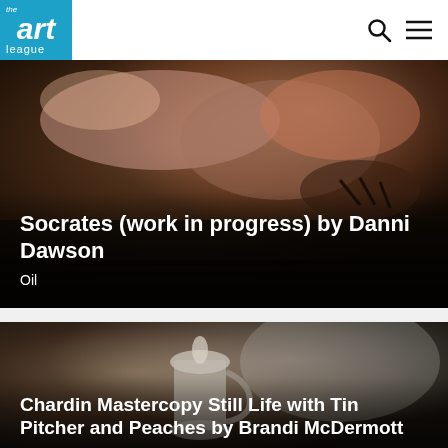the art league
[Figure (photo): Dark oil painting in progress showing a pig or animal figure, warm brown and flesh tones, dramatic chiaroscuro lighting]
Socrates (work in progress) by Danni Dawson
Oil
[Figure (photo): Dark still life painting showing a silver/tin pitcher or tankard with dramatic smoky background, dark tones]
Chardin Mastercopy Still Life with Tin Pitcher and Peaches by Brandi McDermott